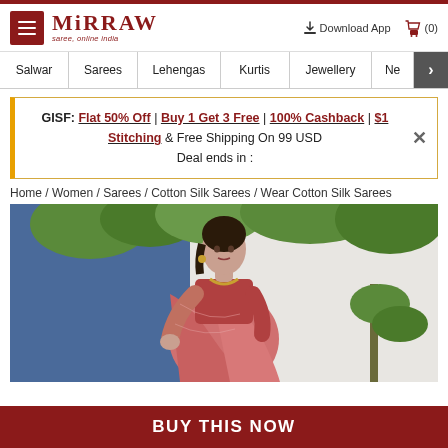Mirraw - saree, online india
Salwar | Sarees | Lehengas | Kurtis | Jewellery | Ne >
GISF: Flat 50% Off | Buy 1 Get 3 Free | 100% Cashback | $1 Stitching & Free Shipping On 99 USD  Deal ends in :
Home / Women / Sarees / Cotton Silk Sarees / Wear Cotton Silk Sarees
[Figure (photo): Woman wearing a pink/coral cotton silk saree, posing outdoors in front of blue wooden door with green plants]
BUY THIS NOW